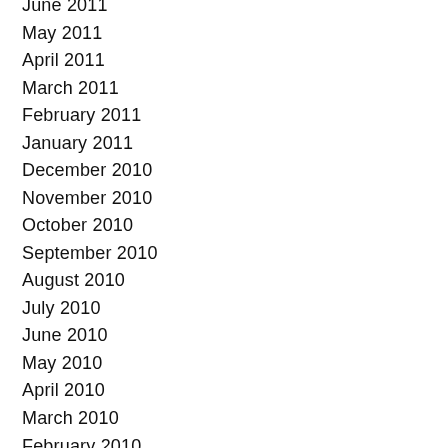June 2011
May 2011
April 2011
March 2011
February 2011
January 2011
December 2010
November 2010
October 2010
September 2010
August 2010
July 2010
June 2010
May 2010
April 2010
March 2010
February 2010
January 2010